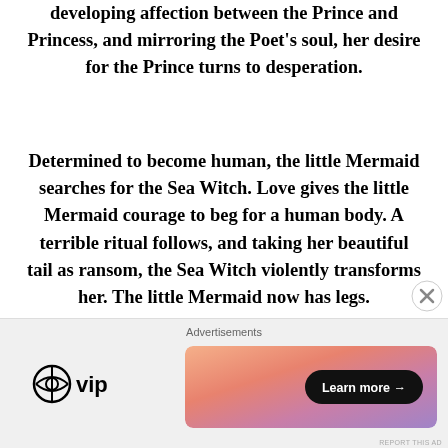developing affection between the Prince and Princess, and mirroring the Poet’s soul, her desire for the Prince turns to desperation.
Determined to become human, the little Mermaid searches for the Sea Witch. Love gives the little Mermaid courage to beg for a human body. A terrible ritual follows, and taking her beautiful tail as ransom, the Sea Witch violently transforms her. The little Mermaid now has legs.
Waking naked on the seashore, she finds her first steps unbearably painful. The Prince, passing by, takes pity on this strange creature and carries her on
[Figure (infographic): Advertisement banner area with 'Advertisements' label, WordPress VIP logo on the left, and a colorful gradient banner with a 'Learn more →' button on the right. A close (X) button appears in the upper right of the ad area.]